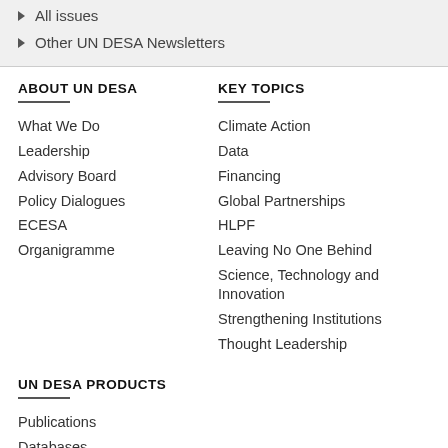All issues
Other UN DESA Newsletters
ABOUT UN DESA
What We Do
Leadership
Advisory Board
Policy Dialogues
ECESA
Organigramme
KEY TOPICS
Climate Action
Data
Financing
Global Partnerships
HLPF
Leaving No One Behind
Science, Technology and Innovation
Strengthening Institutions
Thought Leadership
UN DESA PRODUCTS
Publications
Databases
Policy Briefs
Working Papers
Webinars